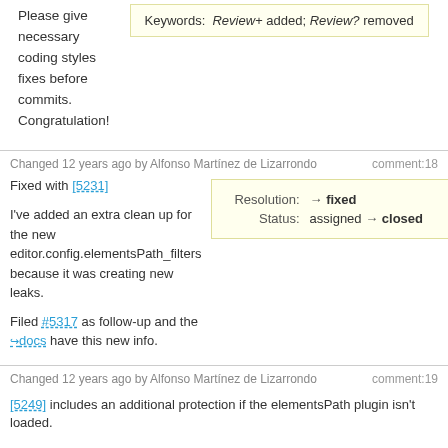Please give necessary coding styles fixes before commits. Congratulation!
Keywords: Review+ added; Review? removed
Changed 12 years ago by Alfonso Martínez de Lizarrondo comment:18
Fixed with [5231]
Resolution: → fixed
Status: assigned → closed
I've added an extra clean up for the new editor.config.elementsPath_filters because it was creating new leaks.
Filed #5317 as follow-up and the ⇒docs have this new info.
Changed 12 years ago by Alfonso Martínez de Lizarrondo comment:19
[5249] includes an additional protection if the elementsPath plugin isn't loaded.
Changed 12 years ago by Alfonso Martínez de Lizarrondo comment:20
Another leak fix with [5289].